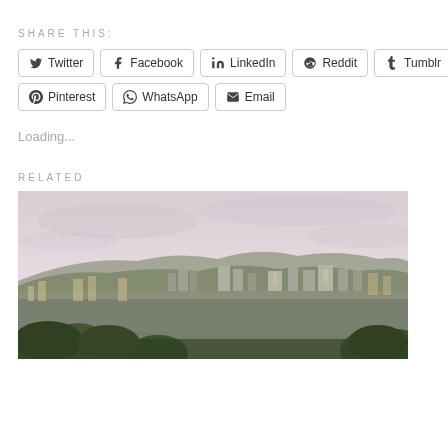SHARE THIS:
Twitter · Facebook · LinkedIn · Reddit · Tumblr · Pinterest · WhatsApp · Email
Loading...
RELATED
[Figure (photo): Aerial cityscape view showing a dense urban area with trees in the foreground and mountains in the background under a pale pink overcast sky.]